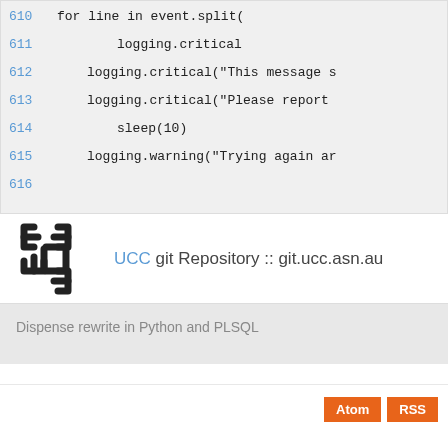[Figure (screenshot): Code viewer showing Python source lines 610-616 with line numbers in blue and code in monospace font on a light gray background. Line 610: for line in event.split(, Line 611: logging.critical, Line 612: logging.critical("This message s, Line 613: logging.critical("Please report, Line 614: sleep(10), Line 615: logging.warning("Trying again ar, Line 616: (empty)]
UCC git Repository :: git.ucc.asn.au
Dispense rewrite in Python and PLSQL
Atom  RSS